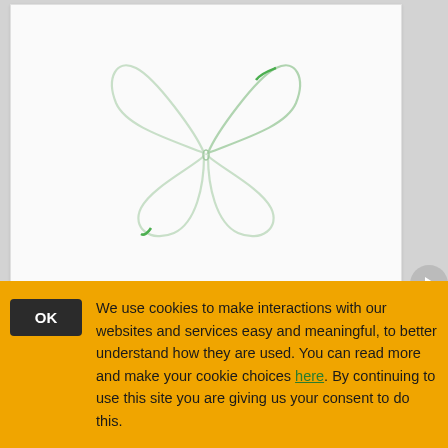[Figure (illustration): A butterfly logo outline drawn in light gray/green strokes on a white background, resembling the ThingWorx brand butterfly icon.]
ThingWorx IoT Platform
The ThingWorx platform provides a complete application design, runtime, and intelligence environment.
OK  We use cookies to make interactions with our websites and services easy and meaningful, to better understand how they are used. You can read more and make your cookie choices here. By continuing to use this site you are giving us your consent to do this.